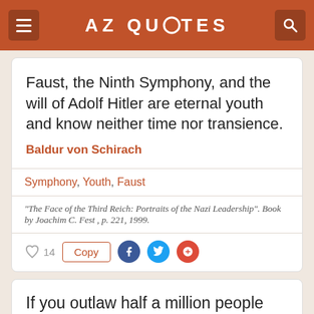AZ QUOTES
Faust, the Ninth Symphony, and the will of Adolf Hitler are eternal youth and know neither time nor transience.
Baldur von Schirach
Symphony, Youth, Faust
"The Face of the Third Reich: Portraits of the Nazi Leadership". Book by Joachim C. Fest , p. 221, 1999.
14  Copy
If you outlaw half a million people